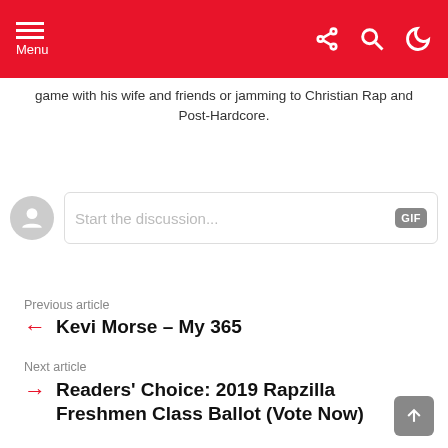Menu
game with his wife and friends or jamming to Christian Rap and Post-Hardcore.
[Figure (other): Comment input field with avatar placeholder and GIF button, showing placeholder text 'Start the discussion...']
Previous article
Kevi Morse – My 365
Next article
Readers' Choice: 2019 Rapzilla Freshmen Class Ballot (Vote Now)